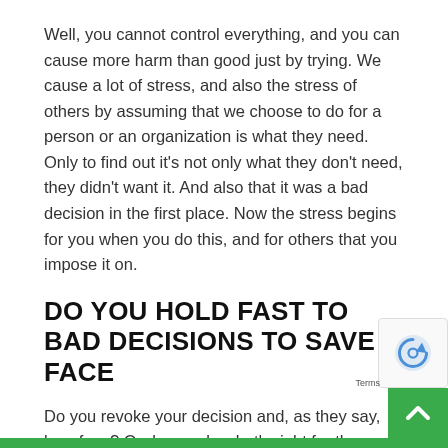Well, you cannot control everything, and you can cause more harm than good just by trying. We cause a lot of stress, and also the stress of others by assuming that we choose to do for a person or an organization is what they need. Only to find out it's not only what they don't need, they didn't want it. And also that it was a bad decision in the first place. Now the stress begins for you when you do this, and for others that you impose it on.
DO YOU HOLD FAST TO BAD DECISIONS TO SAVE FACE
Do you revoke your decision and, as they say, lose face? Or do you do what's right for the group and for the best of all, including yourself? Or do you hold fast to the decision and lose the respect of those you hu… What happens is in your control. Leaders sometime…